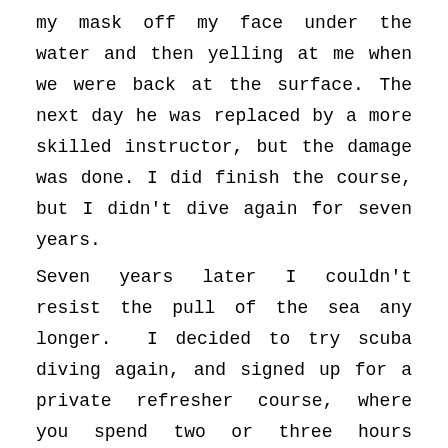my mask off my face under the water and then yelling at me when we were back at the surface. The next day he was replaced by a more skilled instructor, but the damage was done. I did finish the course, but I didn't dive again for seven years.
Seven years later I couldn't resist the pull of the sea any longer. I decided to try scuba diving again, and signed up for a private refresher course, where you spend two or three hours getting